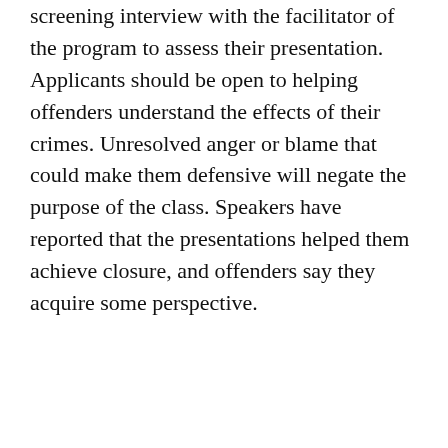screening interview with the facilitator of the program to assess their presentation. Applicants should be open to helping offenders understand the effects of their crimes. Unresolved anger or blame that could make them defensive will negate the purpose of the class. Speakers have reported that the presentations helped them achieve closure, and offenders say they acquire some perspective.